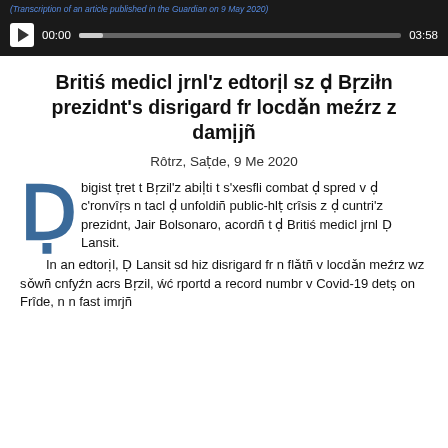(Transcription of an article published in the Guardian on 9 May 2020)
[Figure (other): Audio player bar with play button showing 00:00 / 03:58]
Britiś medicl jrnl'z edtorịl sz ḍ Bṛziłn prezidnt's disrigard fr locdǎn meźrz z damịjñ
Rôtrz, Saṭde, 9 Me 2020
Ḍ bigist ṭret t Bṛzil'z abiḷti t s'xesfli combat ḍ spred v ḍ c'ronvîṛs n tacl ḍ unfoldiñ public-hlṭ crîsis z ḍ cuntri'z prezidnt, Jair Bolsonaro, acordñ t ḍ Britiś medicl jrnl Ḍ Lansit.
In an edtorịl, Ḍ Lansit sd hiz disrigard fr n flǎtñ v locdǎn meźrz wz sǒwñ cnfyźn acrs Bṛzil, ẃć rportd a record numbr v Covid-19 detṣ on Frîde, n n fast imrjñ